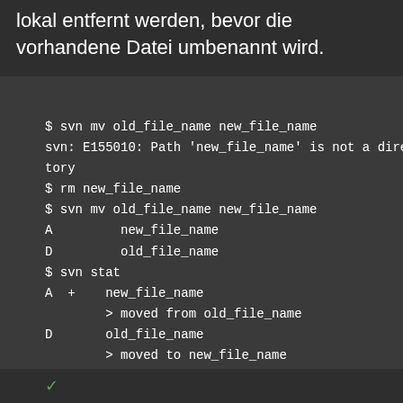lokal entfernt werden, bevor die vorhandene Datei umbenannt wird.
$ svn mv old_file_name new_file_name
svn: E155010: Path 'new_file_name' is not a directory
$ rm new_file_name
$ svn mv old_file_name new_file_name
A         new_file_name
D         old_file_name
$ svn stat
A +    new_file_name
       > moved from old_file_name
D      old_file_name
       > moved to new_file_name
$ svn commit
Adding             new_file_name
Deleting        old_file_name
Committing transaction...